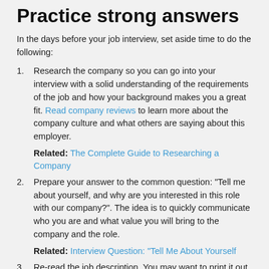Practice strong answers
In the days before your job interview, set aside time to do the following:
Research the company so you can go into your interview with a solid understanding of the requirements of the job and how your background makes you a great fit. Read company reviews to learn more about the company culture and what others are saying about this employer.
Related: The Complete Guide to Researching a Company
Prepare your answer to the common question: "Tell me about yourself, and why are you interested in this role with our company?". The idea is to quickly communicate who you are and what value you will bring to the company and the role.
Related: Interview Question: "Tell Me About Yourself
Re-read the job description. You may want to print it out and begin underlining specific skills the employer is looking for. Think about examples from your past and...